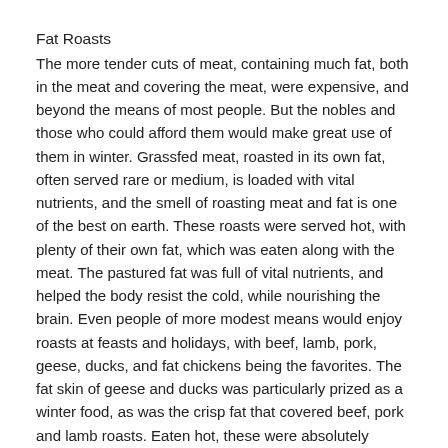Fat Roasts
The more tender cuts of meat, containing much fat, both in the meat and covering the meat, were expensive, and beyond the means of most people. But the nobles and those who could afford them would make great use of them in winter. Grassfed meat, roasted in its own fat, often served rare or medium, is loaded with vital nutrients, and the smell of roasting meat and fat is one of the best on earth. These roasts were served hot, with plenty of their own fat, which was eaten along with the meat. The pastured fat was full of vital nutrients, and helped the body resist the cold, while nourishing the brain. Even people of more modest means would enjoy roasts at feasts and holidays, with beef, lamb, pork, geese, ducks, and fat chickens being the favorites. The fat skin of geese and ducks was particularly prized as a winter food, as was the crisp fat that covered beef, pork and lamb roasts. Eaten hot, these were absolutely delicious. These roasts were often served with rich sauces and gravies made from their own fat and drippings, often with butter and cream, or added broth. These sauces added even more fat to the dish, in a most delicious and warming way.
Salted Meats and Fish
Much of the meat used in earlier times was dried, or salted, or